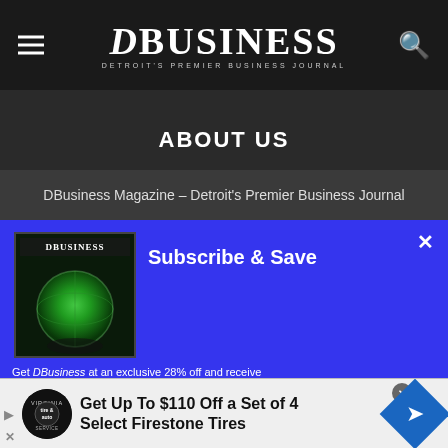DBusiness — Detroit's Premier Business Journal
ABOUT US
DBusiness Magazine – Detroit's Premier Business Journal
[Figure (screenshot): Subscribe & Save popup panel on blue background with DBusiness magazine cover thumbnail showing a globe image, close X button in top right, and partial text: Get DBusiness at an exclusive 28% off and receive...]
[Figure (infographic): Advertisement banner: Get Up To $110 Off a Set of 4 Select Firestone Tires, with Virginia Tire & Auto logo circle, play button, X close button, and blue diamond navigation icon]